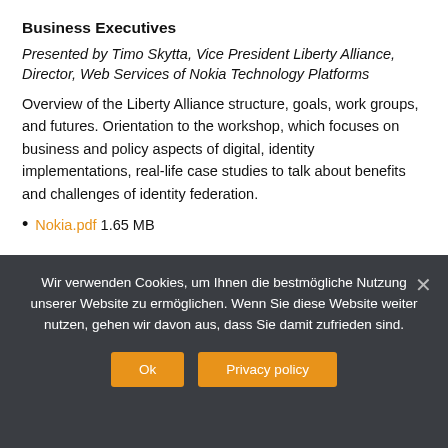Business Executives
Presented by Timo Skytta, Vice President Liberty Alliance, Director, Web Services of Nokia Technology Platforms
Overview of the Liberty Alliance structure, goals, work groups, and futures. Orientation to the workshop, which focuses on business and policy aspects of digital, identity implementations, real-life case studies to talk about benefits and challenges of identity federation.
Nokia.pdf 1.65 MB
RELATED ARTICLES    MORE FROM AUTHOR
Wir verwenden Cookies, um Ihnen die bestmögliche Nutzung unserer Website zu ermöglichen. Wenn Sie diese Website weiter nutzen, gehen wir davon aus, dass Sie damit zufrieden sind.